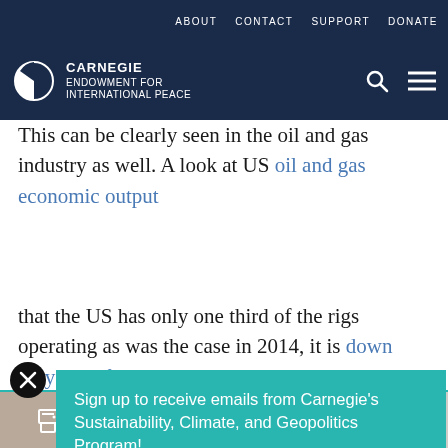ABOUT  CONTACT  SUPPORT  DONATE
[Figure (logo): Carnegie Endowment for International Peace logo with globe icon in dark navy bar]
This can be clearly seen in the oil and gas industry as well. A look at US oil and gas economic output
Sign up to receive emails from Carnegie’s Sustainability, Climate, and Geopolitics Program!
Enter email address
SUBMIT ►
that the US has only one third of the rigs operating as was the case in 2014, it is down only 10% from its
Print  Share  Facebook  Twitter  WhatsApp  Messenger  LinkedIn